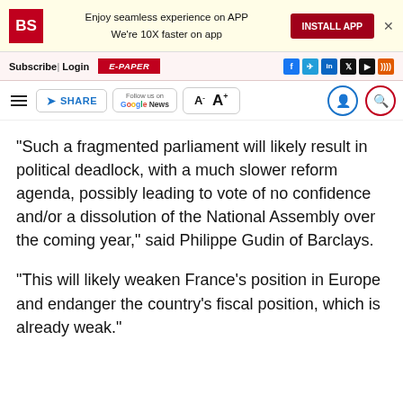[Figure (screenshot): Business Standard app install banner with BS logo, text 'Enjoy seamless experience on APP / We're 10X faster on app', INSTALL APP button, and close X]
Subscribe| Login   E-PAPER   [social icons: f, telegram, in, twitter, youtube, rss]
[Figure (screenshot): Toolbar with hamburger menu, SHARE button, Follow us on Google News, font size controls A- A+, user and search icons]
"Such a fragmented parliament will likely result in political deadlock, with a much slower reform agenda, possibly leading to vote of no confidence and/or a dissolution of the National Assembly over the coming year," said Philippe Gudin of Barclays.
"This will likely weaken France's position in Europe and endanger the country's fiscal position, which is already weak."